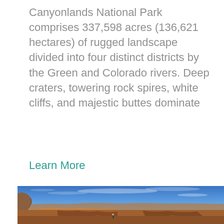Canyonlands National Park comprises 337,598 acres (136,621 hectares) of rugged landscape divided into four distinct districts by the Green and Colorado rivers. Deep craters, towering rock spires, white cliffs, and majestic buttes dominate
Learn More
[Figure (photo): Panoramic landscape photo of Canyonlands National Park showing red rock canyon formations, the Colorado River visible in the lower right, vast canyon landscape stretching to the horizon under a blue sky with wispy clouds. A person stands in the lower center on a rocky outcrop.]